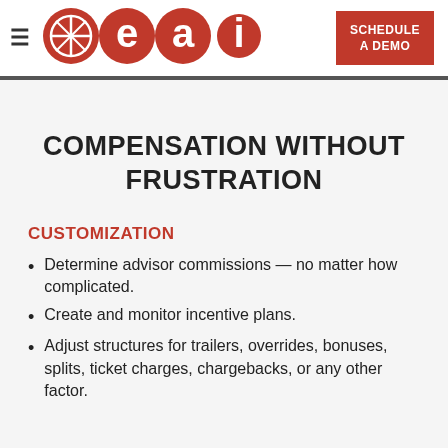[Figure (logo): EAI company logo: three red circles containing a grid/compass symbol, letter e, letter a, and letter i]
COMPENSATION WITHOUT FRUSTRATION
CUSTOMIZATION
Determine advisor commissions — no matter how complicated.
Create and monitor incentive plans.
Adjust structures for trailers, overrides, bonuses, splits, ticket charges, chargebacks, or any other factor.